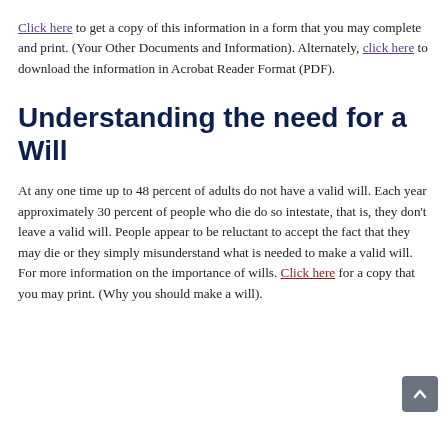Click here to get a copy of this information in a form that you may complete and print. (Your Other Documents and Information). Alternately, click here to download the information in Acrobat Reader Format (PDF).
Understanding the need for a Will
At any one time up to 48 percent of adults do not have a valid will. Each year approximately 30 percent of people who die do so intestate, that is, they don't leave a valid will. People appear to be reluctant to accept the fact that they may die or they simply misunderstand what is needed to make a valid will. For more information on the importance of wills. Click here for a copy that you may print. (Why you should make a will).